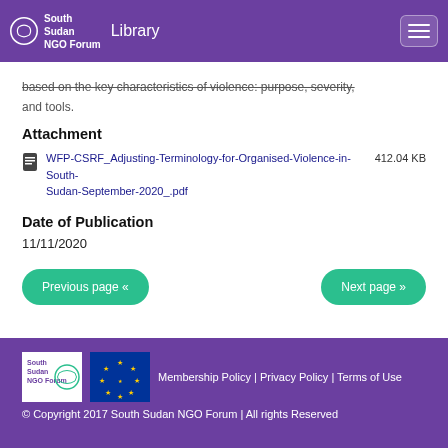South Sudan NGO Forum | Library
based on the key characteristics of violence: purpose, severity, and tools.
Attachment
WFP-CSRF_Adjusting-Terminology-for-Organised-Violence-in-South-Sudan-September-2020_.pdf    412.04 KB
Date of Publication
11/11/2020
Previous page «
Next page »
Membership Policy | Privacy Policy | Terms of Use
© Copyright 2017 South Sudan NGO Forum | All rights Reserved